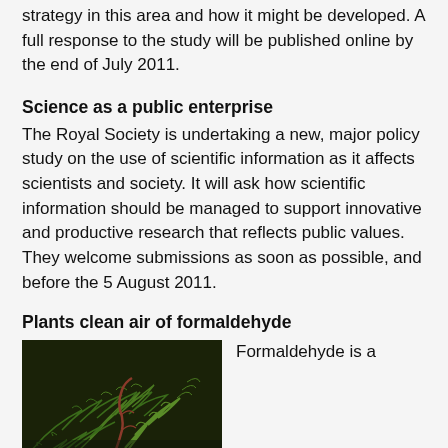strategy in this area and how it might be developed. A full response to the study will be published online by the end of July 2011.
Science as a public enterprise
The Royal Society is undertaking a new, major policy study on the use of scientific information as it affects scientists and society. It will ask how scientific information should be managed to support innovative and productive research that reflects public values. They welcome submissions as soon as possible, and before the 5 August 2011.
Plants clean air of formaldehyde
[Figure (photo): Close-up photograph of green fern leaves/fronds with reddish stems against a dark background]
Formaldehyde is a